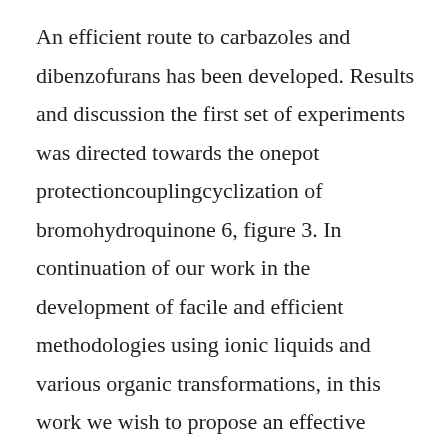An efficient route to carbazoles and dibenzofurans has been developed. Results and discussion the first set of experiments was directed towards the onepot protectioncouplingcyclization of bromohydroquinone 6, figure 3. In continuation of our work in the development of facile and efficient methodologies using ionic liquids and various organic transformations, in this work we wish to propose an effective strategy for the synthesis of 2acetylcarbo ethoxy benzofuran